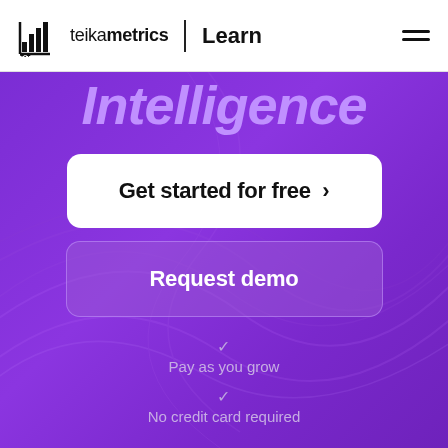teikametrics | Learn
Intelligence
Get started for free >
Request demo
Pay as you grow
No credit card required